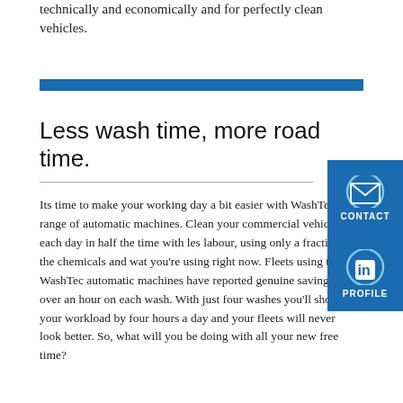technically and economically and for perfectly clean vehicles.
Less wash time, more road time.
Its time to make your working day a bit easier with WashTec's range of automatic machines. Clean your commercial vehicles each day in half the time with less labour, using only a fraction of the chemicals and water you're using right now. Fleets using the WashTec automatic machines have reported genuine savings of over an hour on each wash. With just four washes you'll shorten your workload by four hours a day and your fleets will never look better. So, what will you be doing with all your new free time?
[Figure (infographic): Blue CONTACT button with envelope icon and blue PROFILE button with LinkedIn icon, positioned on the right side]
[Figure (other): Blue horizontal divider bar]